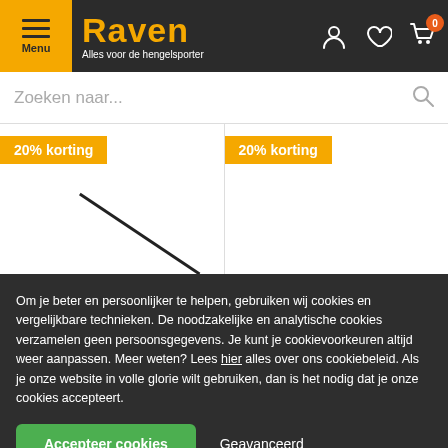Raven — Alles voor de hengelsporter
[Figure (screenshot): Website header with Raven logo, menu button, search bar, product listing with 20% korting badges, and cookie consent panel]
Om je beter en persoonlijker te helpen, gebruiken wij cookies en vergelijkbare technieken. De noodzakelijke en analytische cookies verzamelen geen persoonsgegevens. Je kunt je cookievoorkeuren altijd weer aanpassen. Meer weten? Lees hier alles over ons cookiebeleid. Als je onze website in volle glorie wilt gebruiken, dan is het nodig dat je onze cookies accepteert.
Accepteer cookies
Geavanceerd